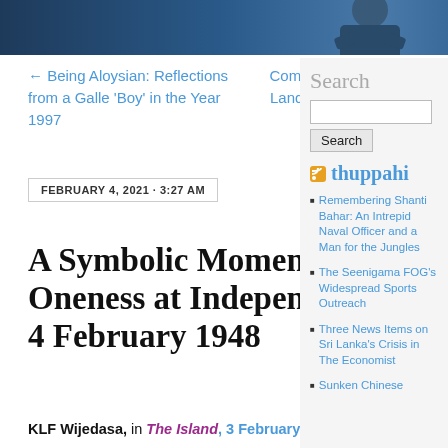[Figure (photo): Header banner image with dark blue background showing a person in a blue jacket]
← Being Aloysian: Reflections from a Galle 'Boy' in the Year 1997
Coming of Age: A Cricketing Landmark in March 1996 … with Pictures →
FEBRUARY 4, 2021 · 3:27 AM
↓ Jump to Comments
A Symbolic Moment of Ethnic Oneness at Independence Day, 4 February 1948
KLF Wijedasa, in The Island, 3 February
Search
Search
thuppahi
Remembering Shanti Bahar: An Intrepid Naval Officer and a Man for the Jungles
The Seenigama FOG's Widespread Sports Outreach
Three News Items on Sri Lanka's Crisis in The Economist
Sunken Chinese